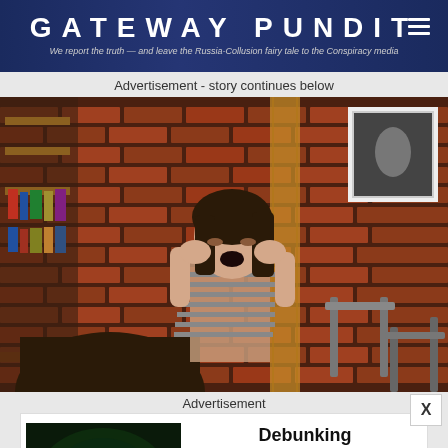GATEWAY PUNDIT — We report the truth — and leave the Russia-Collusion fairy tale to the Conspiracy media
Advertisement - story continues below
[Figure (photo): Woman with hands on face screaming, seated in a cafe or coffee shop with brick wall background and bookshelves]
Advertisement
[Figure (photo): Pink virus/cell on dark green background — Covid variant illustration]
Debunking Misconceptions About A New Covid Variant Such As Ninja
Brainberries